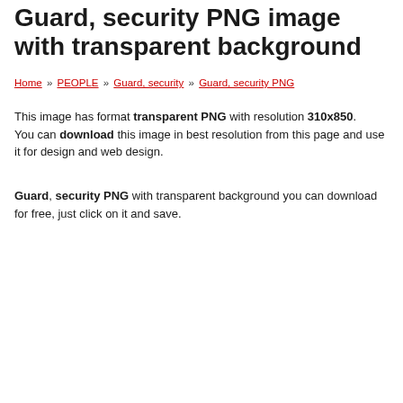Guard, security PNG image with transparent background
Home » PEOPLE » Guard, security » Guard, security PNG
This image has format transparent PNG with resolution 310x850. You can download this image in best resolution from this page and use it for design and web design.
Guard, security PNG with transparent background you can download for free, just click on it and save.